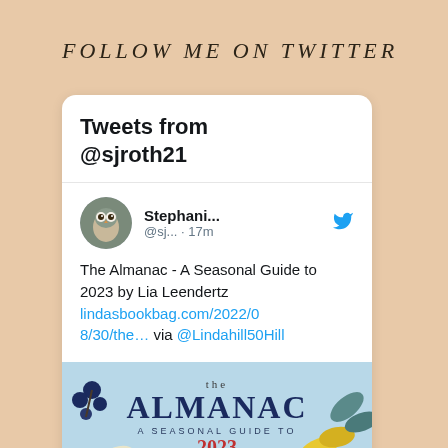FOLLOW ME ON TWITTER
[Figure (screenshot): Twitter widget showing tweets from @sjroth21, with a tweet by Stephani... @sj... · 17m reading: The Almanac - A Seasonal Guide to 2023 by Lia Leendertz lindasbookbag.com/2022/08/30/the… via @Lindahill50Hill, along with a book cover image for The Almanac: A Seasonal Guide to 2023 by Lia Leendertz]